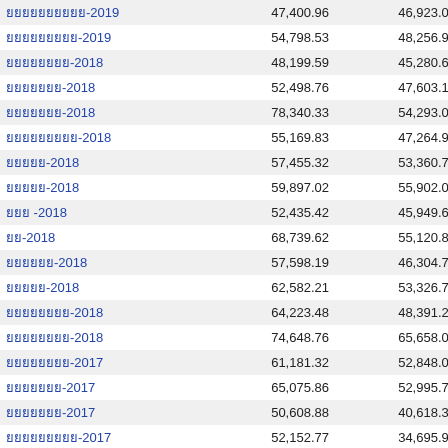| Name | Col1 | Col2 | Col3 |
| --- | --- | --- | --- |
| ยยยยยยยยยย-2019 | 47,400.96 | 46,923.06 | 477 |
| ยยยยยยยยย-2019 | 54,798.53 | 48,256.99 | 6,541 |
| ยยยยยยยย-2018 | 48,199.59 | 45,280.62 | 2,918 |
| ยยยยยยย-2018 | 52,498.76 | 47,603.16 | 4,895 |
| ยยยยยยย-2018 | 78,340.33 | 54,293.01 | 24,034 |
| ยยยยยยยยย-2018 | 55,169.83 | 47,264.91 | 7,904 |
| ยยยยย-2018 | 57,455.32 | 53,360.79 | 4,094 |
| ยยยยย-2018 | 59,897.02 | 55,902.00 | 3,995 |
| ยยย -2018 | 52,435.42 | 45,949.64 | 6,485 |
| ยย-2018 | 68,739.62 | 55,120.80 | 13,618 |
| ยยยยยย-2018 | 57,598.19 | 46,304.73 | 11,293 |
| ยยยยย-2018 | 62,582.21 | 53,326.71 | 9,255 |
| ยยยยยยยย-2018 | 64,223.48 | 48,391.21 | 15,832 |
| ยยยยยยยย-2018 | 74,648.76 | 65,658.01 | 8,990 |
| ยยยยยยยย-2017 | 61,181.32 | 52,848.02 | 8,333 |
| ยยยยยยย-2017 | 65,075.86 | 52,995.76 | 12,080 |
| ยยยยยยย-2017 | 50,608.88 | 40,618.38 | 9,990 |
| ยยยยยยยยย-2017 | 52,152.77 | 34,695.93 | 17,456 |
| ยยยยย-2017 | 50,272.80 | 32,331.69 | 17,941 |
| ยยยยย-2017 | 50,268.51 | 38,468.66 | 11,799 |
| ยยย -2017 | 43,484.16 | 34,284.77 | 9,199 |
| ยย-2017 | 51,059.27 | 41,701.59 | 9,357 |
| ยยยยยย-2017 | 48,318.53 | 34,503.05 | 11,014 |